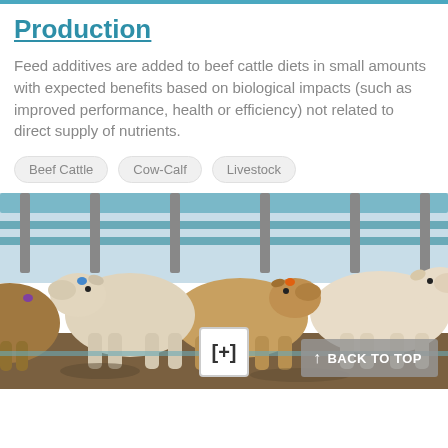Production
Feed additives are added to beef cattle diets in small amounts with expected benefits based on biological impacts (such as improved performance, health or efficiency) not related to direct supply of nutrients.
Beef Cattle
Cow-Calf
Livestock
[Figure (photo): Group of beef cattle standing together in a pen/feedlot, including brown and cream/white colored cows, with metal fence railings visible in the background.]